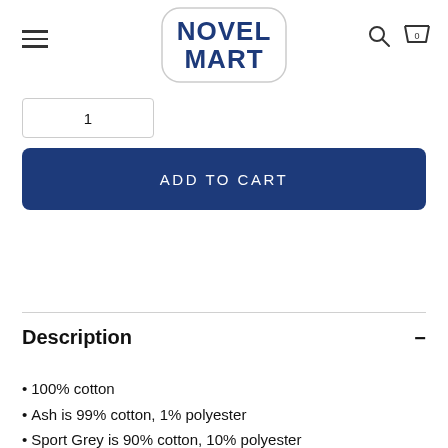Novel Mart
[Figure (screenshot): Quantity input box]
ADD TO CART
Description
100% cotton
Ash is 99% cotton, 1% polyester
Sport Grey is 90% cotton, 10% polyester